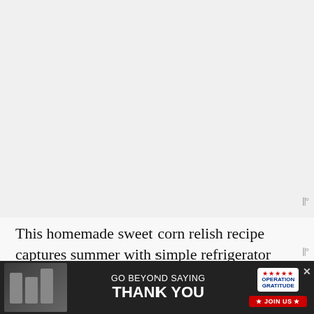[Figure (photo): Large image area (mostly blank/light gray) at top of page, representing a photo of corn relish or related food content]
This homemade sweet corn relish recipe captures summer with simple refrigerator preservation. No hot water bath processing involved. Just store it in the refrigerator...
[Figure (infographic): Advertisement banner: GO BEYOND SAYING THANK YOU — Operation Gratitude JOIN US. Dark background with soldiers/people photo on left, Operation Gratitude logo on right.]